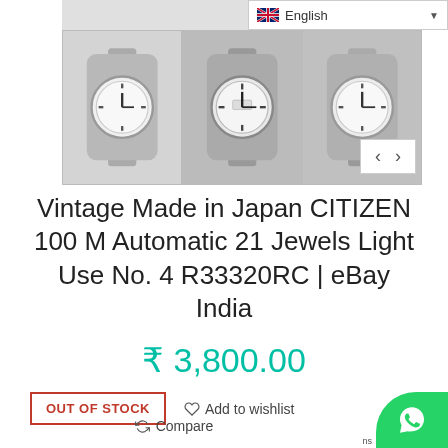[Figure (screenshot): Gallery of three watch photos with navigation arrows and English language selector]
Vintage Made in Japan CITIZEN 100 M Automatic 21 Jewels Light Use No. 4 R33320RC | eBay India
₹ 3,800.00
OUT OF STOCK
Add to wishlist
Compare